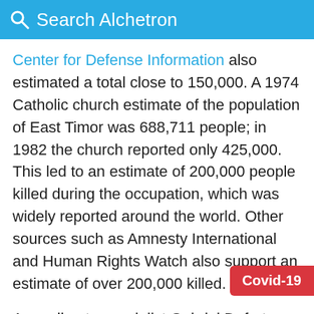Search Alchetron
Center for Defense Information also estimated a total close to 150,000. A 1974 Catholic church estimate of the population of East Timor was 688,711 people; in 1982 the church reported only 425,000. This led to an estimate of 200,000 people killed during the occupation, which was widely reported around the world. Other sources such as Amnesty International and Human Rights Watch also support an estimate of over 200,000 killed.
According to specialist Gabriel Defert on the basis of statistical data available from the Portuguese and Indonesian authorities, and from the Catholic Church, between December 1975 and De...
Covid-19